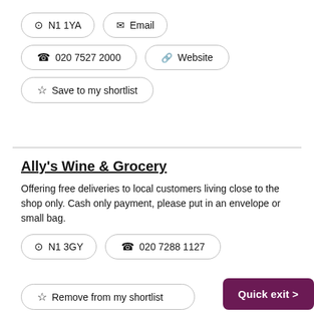N1 1YA
Email
020 7527 2000
Website
Save to my shortlist
Ally's Wine & Grocery
Offering free deliveries to local customers living close to the shop only. Cash only payment, please put in an envelope or small bag.
N1 3GY
020 7288 1127
Remove from my shortlist
Quick exit >